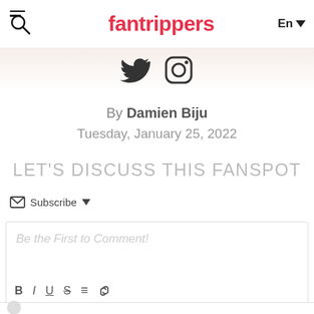fantrippers — En
[Figure (illustration): Twitter bird icon and Instagram camera icon in dark/black color]
By Damien Biju
Tuesday, January 25, 2022
LET'S DISCUSS THIS FANSPOT
Subscribe
Be the First to Comment!